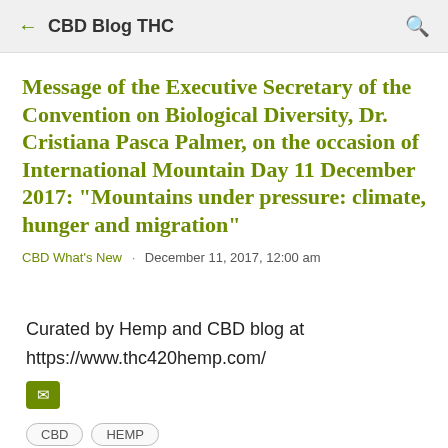CBD Blog THC
Message of the Executive Secretary of the Convention on Biological Diversity, Dr. Cristiana Pasca Palmer, on the occasion of International Mountain Day 11 December 2017: "Mountains under pressure: climate, hunger and migration"
CBD What's New · December 11, 2017, 12:00 am
Curated by Hemp and CBD blog at
https://www.thc420hemp.com/
CBD   HEMP